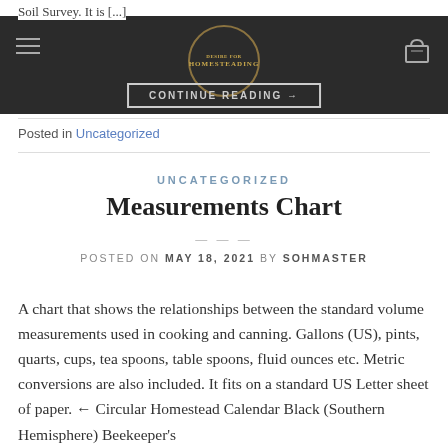Soil Survey. It is [...]
HOMESTEADING logo with hamburger menu and cart icon
CONTINUE READING →
Posted in Uncategorized
UNCATEGORIZED
Measurements Chart
POSTED ON MAY 18, 2021 BY SOHMASTER
A chart that shows the relationships between the standard volume measurements used in cooking and canning. Gallons (US), pints, quarts, cups, tea spoons, table spoons, fluid ounces etc. Metric conversions are also included. It fits on a standard US Letter sheet of paper. ← Circular Homestead Calendar Black (Southern Hemisphere) Beekeeper's